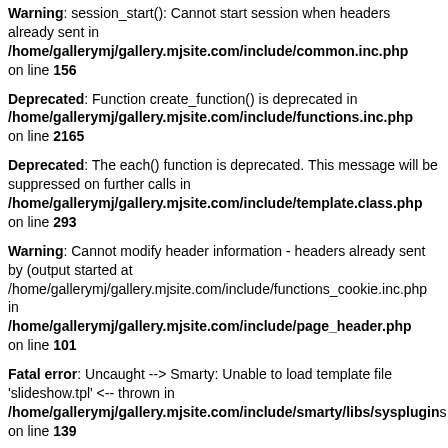Warning: session_start(): Cannot start session when headers already sent in /home/gallerymj/gallery.mjsite.com/include/common.inc.php on line 156
Deprecated: Function create_function() is deprecated in /home/gallerymj/gallery.mjsite.com/include/functions.inc.php on line 2165
Deprecated: The each() function is deprecated. This message will be suppressed on further calls in /home/gallerymj/gallery.mjsite.com/include/template.class.php on line 293
Warning: Cannot modify header information - headers already sent by (output started at /home/gallerymj/gallery.mjsite.com/include/functions_cookie.inc.php in /home/gallerymj/gallery.mjsite.com/include/page_header.php on line 101
Fatal error: Uncaught --> Smarty: Unable to load template file 'slideshow.tpl' <-- thrown in /home/gallerymj/gallery.mjsite.com/include/smarty/libs/sysplugins/ on line 139